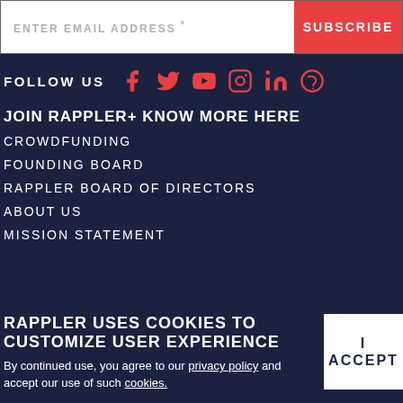ENTER EMAIL ADDRESS *
SUBSCRIBE
FOLLOW US
[Figure (other): Social media icons: Facebook, Twitter, YouTube, Instagram, LinkedIn, Viber - all in red/coral color]
JOIN RAPPLER+ KNOW MORE HERE
CROWDFUNDING
FOUNDING BOARD
RAPPLER BOARD OF DIRECTORS
ABOUT US
MISSION STATEMENT
RAPPLER USES COOKIES TO CUSTOMIZE USER EXPERIENCE
By continued use, you agree to our privacy policy and accept our use of such cookies.
I ACCEPT